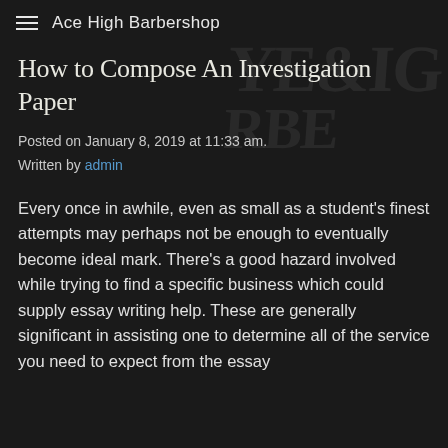≡  Ace High Barbershop
How to Compose An Investigation Paper
Posted on January 8, 2019 at 11:33 am.
Written by admin
Every once in awhile, even as small as a student's finest attempts may perhaps not be enough to eventually become ideal mark. There's a good hazard involved while trying to find a specific business which could supply essay writing help. These are generally significant in assisting one to determine all of the service you need to expect from the essay